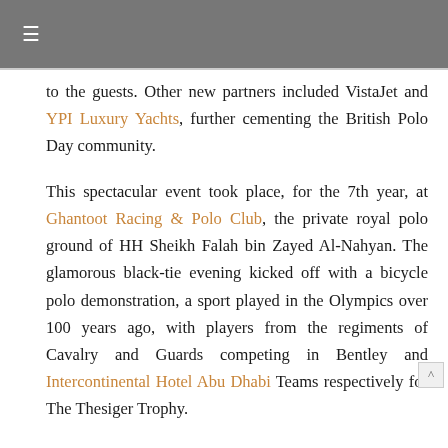≡
to the guests. Other new partners included VistaJet and YPI Luxury Yachts, further cementing the British Polo Day community.
This spectacular event took place, for the 7th year, at Ghantoot Racing & Polo Club, the private royal polo ground of HH Sheikh Falah bin Zayed Al-Nahyan. The glamorous black-tie evening kicked off with a bicycle polo demonstration, a sport played in the Olympics over 100 years ago, with players from the regiments of Cavalry and Guards competing in Bentley and Intercontinental Hotel Abu Dhabi Teams respectively for The Thesiger Trophy.
Next Stuart Wrigley captained the Oxbridge team. sponsored by Chelsea Barracks, against the Abu D team, sponsored by Vista Jet, who were victorious.